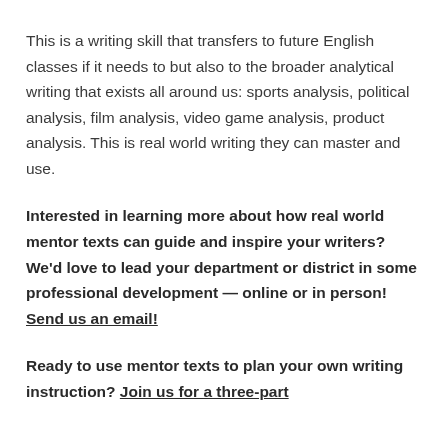This is a writing skill that transfers to future English classes if it needs to but also to the broader analytical writing that exists all around us: sports analysis, political analysis, film analysis, video game analysis, product analysis. This is real world writing they can master and use.
Interested in learning more about how real world mentor texts can guide and inspire your writers? We'd love to lead your department or district in some professional development — online or in person! Send us an email!
Ready to use mentor texts to plan your own writing instruction? Join us for a three-part